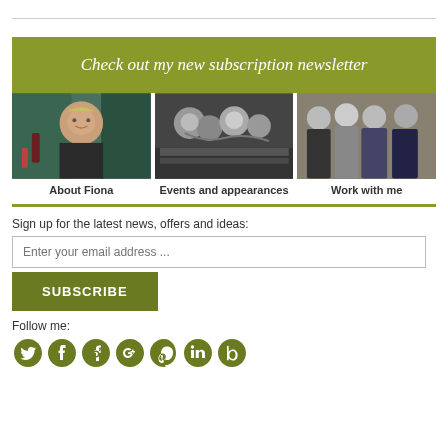[Figure (illustration): Olive green banner with italic white serif text]
Check out my new subscription newsletter
[Figure (photo): Three column photos: About Fiona (woman at table), Events and appearances (group at dinner in black and white), Work with me (group of people standing)]
About Fiona
Events and appearances
Work with me
Sign up for the latest news, offers and ideas:
Enter your email address ...
SUBSCRIBE
Follow me:
[Figure (illustration): Social media icons: Twitter, Facebook, Instagram, Google+, Pinterest, LinkedIn, Goodreads in olive green]